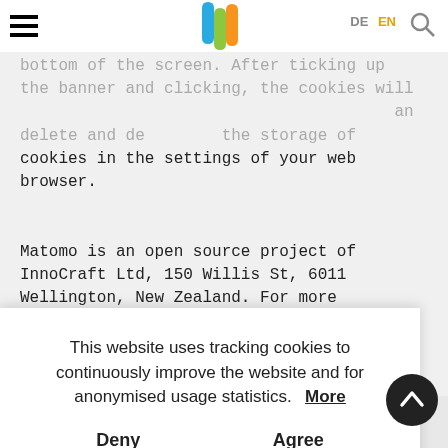DE  EN  [hamburger menu] [search icon] PROWEB logo
bottom of the screen. After ticking up the banner and clicking, the cookies will and delete and deny/allow the storage of cookies in the settings of your web browser.
Matomo is an open source project of InnoCraft Ltd, 150 Willis St, 6011 Wellington, New Zealand. For more information on privacy, please see the privacy policy at: matomo.org/privacy-policy/.
This website uses tracking cookies to continuously improve the website and for anonymised usage statistics.  More
Deny   Agree
may be (1) the browser types and